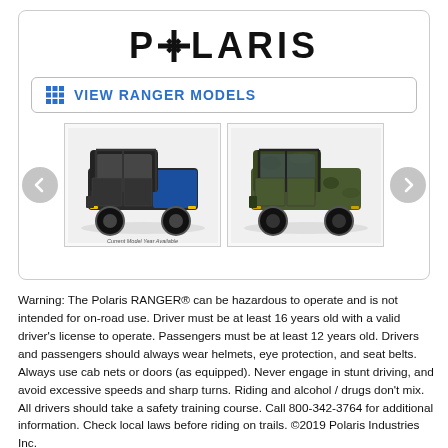[Figure (logo): Polaris logo with star/compass icon replacing the O, black bold uppercase text POLARIS]
VIEW RANGER MODELS
[Figure (photo): Two side-by-side Polaris RANGER crew cab utility vehicles. Left vehicle is blue/black, right is camouflage. Navigation arrows on each side of the carousel.]
Warning: The Polaris RANGER® can be hazardous to operate and is not intended for on-road use. Driver must be at least 16 years old with a valid driver's license to operate. Passengers must be at least 12 years old. Drivers and passengers should always wear helmets, eye protection, and seat belts. Always use cab nets or doors (as equipped). Never engage in stunt driving, and avoid excessive speeds and sharp turns. Riding and alcohol / drugs don't mix. All drivers should take a safety training course. Call 800-342-3764 for additional information. Check local laws before riding on trails. ©2019 Polaris Industries Inc.